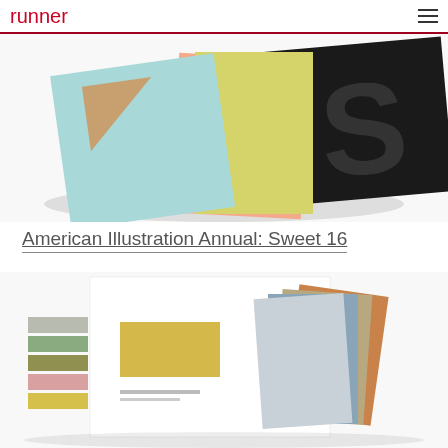runner
[Figure (photo): Colorful book covers fanned out on white surface — light blue, salmon pink, yellow-green, and black with large letter 'S']
American Illustration Annual: Sweet 16
[Figure (photo): Color swatches and palette cards spread on white background — grey, green, olive, pink, yellow chips alongside larger cards in blue, tan, and orange]